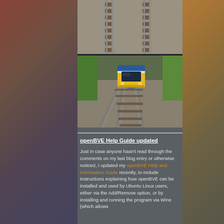[Figure (photo): A train simulation screenshot showing a yellow commuter train approaching on railway tracks with green vegetation on the sides. The image appears to be a composite of two screenshots: the top showing just railway tracks from above, and the bottom showing the yellow train with blue/white livery coming towards the viewer.]
openBVE Help Guide updated
Just in case anyone hasn't read through the comments on my last blog entry or otherwise noticed, I updated my openBVE Help and Information Guide recently, to include instructions explaining how openBVE can be installed and used by Ubuntu Linux users, either via the Add/Remove option, or by installing and running the program via Wine (which allows